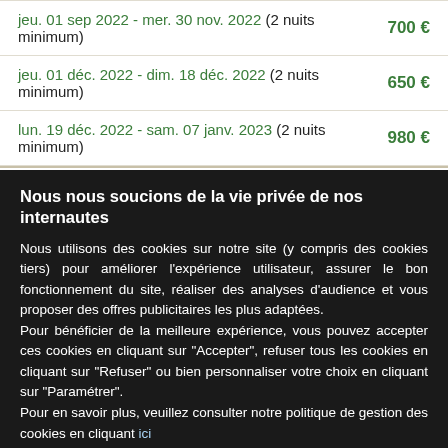| Date | Prix |
| --- | --- |
| jeu. 01 sep 2022 - mer. 30 nov. 2022 (2 nuits minimum) | 700 € |
| jeu. 01 déc. 2022 - dim. 18 déc. 2022 (2 nuits minimum) | 650 € |
| lun. 19 déc. 2022 - sam. 07 janv. 2023 (2 nuits minimum) | 980 € |
Nous nous soucions de la vie privée de nos internautes
Nous utilisons des cookies sur notre site (y compris des cookies tiers) pour améliorer l'expérience utilisateur, assurer le bon fonctionnement du site, réaliser des analyses d'audience et vous proposer des offres publicitaires les plus adaptées. Pour bénéficier de la meilleure expérience, vous pouvez accepter ces cookies en cliquant sur "Accepter", refuser tous les cookies en cliquant sur "Refuser" ou bien personnaliser votre choix en cliquant sur "Paramétrer". Pour en savoir plus, veuillez consulter notre politique de gestion des cookies en cliquant ici